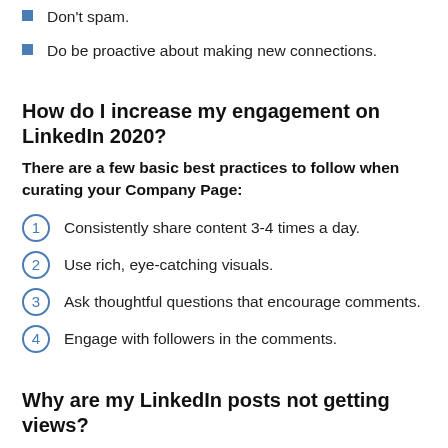Don't spam.
Do be proactive about making new connections.
How do I increase my engagement on LinkedIn 2020?
There are a few basic best practices to follow when curating your Company Page:
1. Consistently share content 3-4 times a day.
2. Use rich, eye-catching visuals.
3. Ask thoughtful questions that encourage comments.
4. Engage with followers in the comments.
Why are my LinkedIn posts not getting views?
If you're not getting views on your LinkedIn posts, you're losing business. … 80% of B2B leads come from LinkedIn. That means if your audience isn't engaging on LinkedIn,